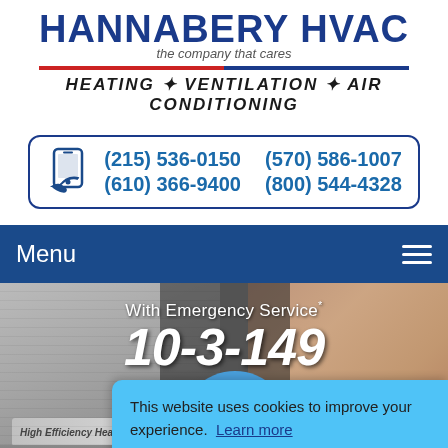[Figure (logo): Hannabery HVAC company logo with tagline 'the company that cares' and 'HEATING * VENTILATION * AIR CONDITIONING']
(215) 536-0150   (570) 586-1007
(610) 366-9400   (800) 544-4328
Menu
[Figure (photo): Hero banner showing a high efficiency heat pump on left, smiling couple on right, with text 'With Emergency Service* 10-3-149 Just']
This website uses cookies to improve your experience. Learn more
Got it!